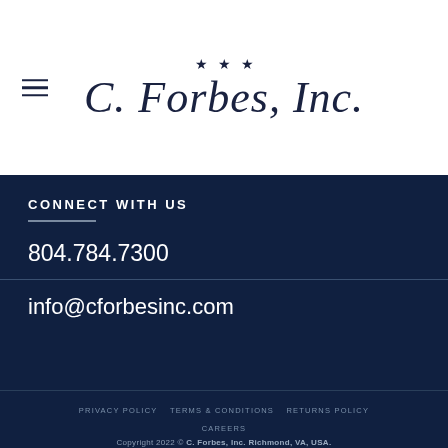[Figure (logo): C. Forbes, Inc. logo with three stars above cursive script text on white header background]
CONNECT WITH US
804.784.7300
info@cforbesinc.com
PRIVACY POLICY   TERMS & CONDITIONS   RETURNS POLICY   CAREERS
Copyright 2022 © C. Forbes, Inc. Richmond, VA, USA.